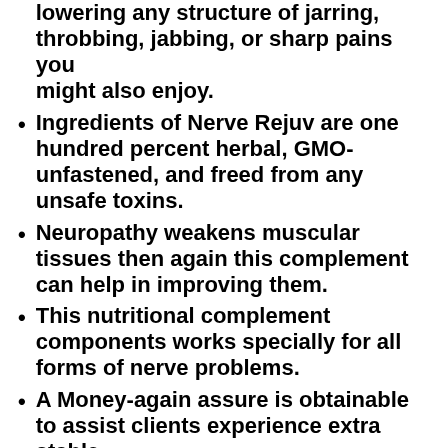lowering any structure of jarring, throbbing, jabbing, or sharp pains you might also enjoy.
Ingredients of Nerve Rejuv are one hundred percent herbal, GMO-unfastened, and freed from any unsafe toxins.
Neuropathy weakens muscular tissues then again this complement can help in improving them.
This nutritional complement components works specially for all forms of nerve problems.
A Money-again assure is obtainable to assist clients experience extra stable.
You might also additionally advantage...